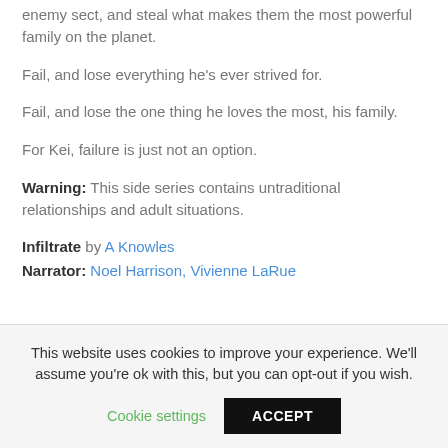enemy sect, and steal what makes them the most powerful family on the planet.
Fail, and lose everything he's ever strived for.
Fail, and lose the one thing he loves the most, his family.
For Kei, failure is just not an option.
Warning: This side series contains untraditional relationships and adult situations.
Infiltrate by A Knowles
Narrator: Noel Harrison, Vivienne LaRue
This website uses cookies to improve your experience. We'll assume you're ok with this, but you can opt-out if you wish.
Cookie settings
ACCEPT